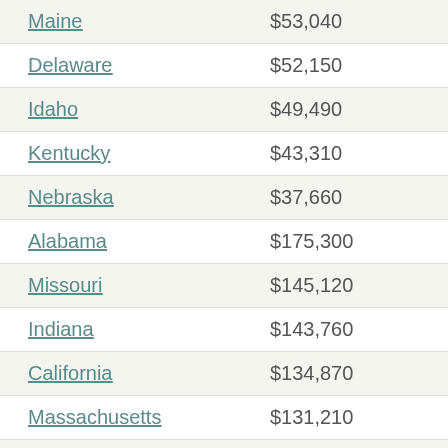| State | Value |
| --- | --- |
| Maine | $53,040 |
| Delaware | $52,150 |
| Idaho | $49,490 |
| Kentucky | $43,310 |
| Nebraska | $37,660 |
| Alabama | $175,300 |
| Missouri | $145,120 |
| Indiana | $143,760 |
| California | $134,870 |
| Massachusetts | $131,210 |